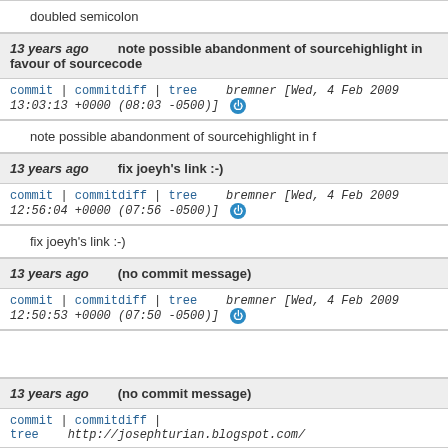doubled semicolon
13 years ago   note possible abandonment of sourcehighlight in favour of sourcecode
commit | commitdiff | tree   bremner [Wed, 4 Feb 2009 13:03:13 +0000 (08:03 -0500)]
note possible abandonment of sourcehighlight in f
13 years ago   fix joeyh's link :-)
commit | commitdiff | tree   bremner [Wed, 4 Feb 2009 12:56:04 +0000 (07:56 -0500)]
fix joeyh's link :-)
13 years ago   (no commit message)
commit | commitdiff | tree   bremner [Wed, 4 Feb 2009 12:50:53 +0000 (07:50 -0500)]
13 years ago   (no commit message)
commit | commitdiff | tree   http://josephturian.blogspot.com/